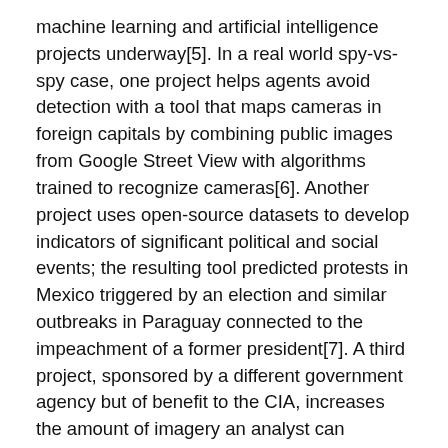machine learning and artificial intelligence projects underway[5]. In a real world spy-vs-spy case, one project helps agents avoid detection with a tool that maps cameras in foreign capitals by combining public images from Google Street View with algorithms trained to recognize cameras[6]. Another project uses open-source datasets to develop indicators of significant political and social events; the resulting tool predicted protests in Mexico triggered by an election and similar outbreaks in Paraguay connected to the impeachment of a former president[7]. A third project, sponsored by a different government agency but of benefit to the CIA, increases the amount of imagery an analyst can process by 95% [8].
In order to prepare for long-term changes to the intelligence trade, the CIA is changing itself